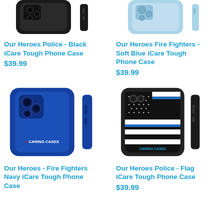[Figure (photo): Our Heroes Police Black iCare Tough Phone Case - black phone case front and side view]
Our Heroes Police - Black iCare Tough Phone Case
$39.99
[Figure (photo): Our Heroes Fire Fighters Soft Blue iCare Tough Phone Case - light blue phone case front and side view]
Our Heroes Fire Fighters - Soft Blue iCare Tough Phone Case
$39.99
[Figure (photo): Our Heroes Fire Fighters Navy iCare Tough Phone Case - navy blue phone case with Caring Cases logo]
Our Heroes - Fire Fighters Navy iCare Tough Phone Case
[Figure (photo): Our Heroes Police Flag iCare Tough Phone Case - black and white American flag with thin blue line]
Our Heroes Police - Flag iCare Tough Phone Case
$39.99